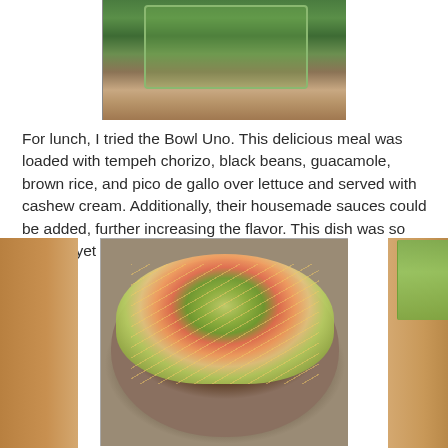[Figure (photo): Top portion of a green juice/smoothie in a clear glass on a wooden table, cropped to show just the glass and its contents from above]
For lunch, I tried the Bowl Uno. This delicious meal was loaded with tempeh chorizo, black beans, guacamole, brown rice, and pico de gallo over lettuce and served with cashew cream. Additionally, their housemade sauces could be added, further increasing the flavor. This dish was so simple, yet so good.
[Figure (photo): A colorful grain/salad bowl (Bowl Uno) with tempeh chorizo, black beans, guacamole, brown rice, pico de gallo over lettuce and drizzled with cashew cream sauce, served in a round ceramic bowl on a wooden table with a green juice visible in the top right corner]